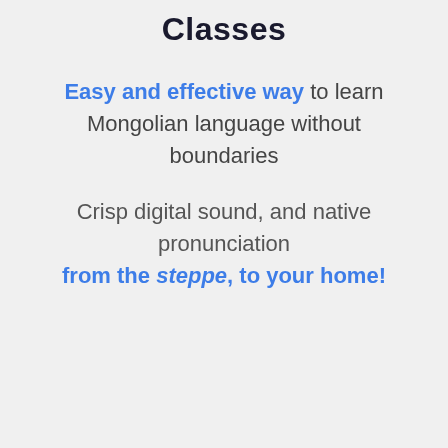Classes
Easy and effective way to learn Mongolian language without boundaries
Crisp digital sound, and native pronunciation from the steppe, to your home!